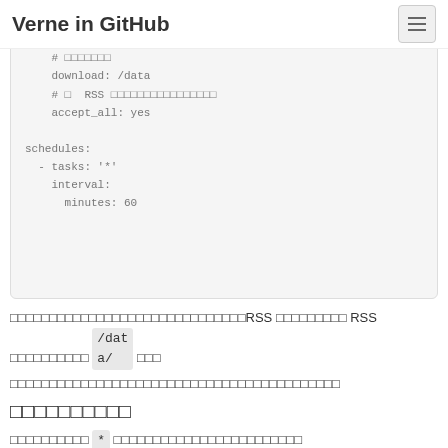Verne in GitHub
tasks:
    rss: http://example.com/rss
    # xxxxxxx
    download: /data
    # x  RSS xxxxxxxxxxxxxxx
    accept_all: yes

schedules:
  - tasks: '*'
    interval:
      minutes: 60
xxxxxxxxxxxxxxxxxxxxxxxxxxxxxxRSS xxxxxxxxx RSS xxxxxxxxxx /data/ xxx
xxxxxxxxxxxxxxxxxxxxxxxxxxxxxxxxxxxxxxxxxx
xxxxxxxxxx
xxxxxxxxxx * xxxxxxxxxxxxxxxxxxxxxxxx